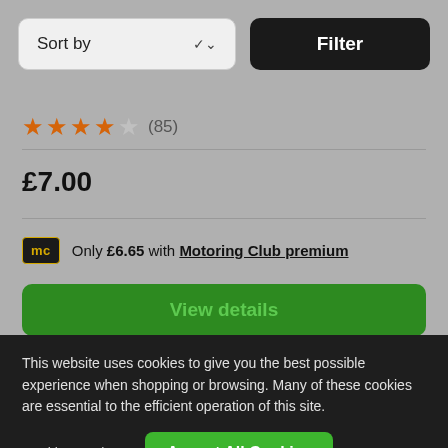[Figure (screenshot): Sort by dropdown button with chevron icon]
[Figure (screenshot): Filter button (dark/black)]
★★★★☆ (85)
£7.00
Only £6.65 with Motoring Club premium
View details
This website uses cookies to give you the best possible experience when shopping or browsing. Many of these cookies are essential to the efficient operation of this site.
Cookies Settings
Accept All Cookies